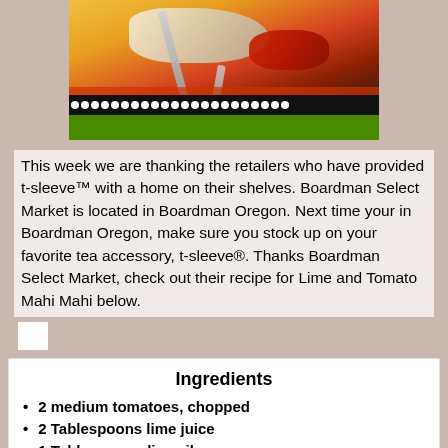[Figure (photo): Photo of a fish dish (Mahi Mahi) on a colorful plate with tomatoes and a fork, with a black polka-dot border and green bar below]
This week we are thanking the retailers who have provided t-sleeve™ with a home on their shelves. Boardman Select Market is located in Boardman Oregon. Next time your in Boardman Oregon, make sure you stock up on your favorite tea accessory, t-sleeve®. Thanks Boardman Select Market, check out their recipe for Lime and Tomato Mahi Mahi below.
Ingredients
2 medium tomatoes, chopped
2 Tablespoons lime juice
1 Tablespoon olive oil
1 Tablespoon chopped fresh parsley
1 clove garlic, minced